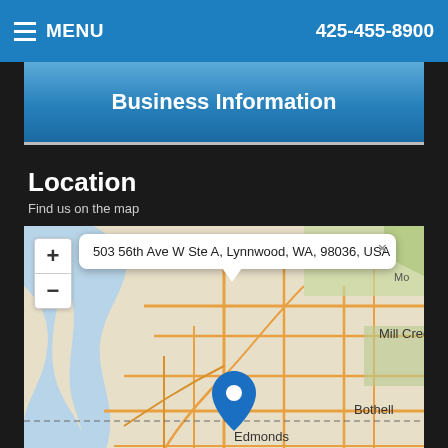MENU  |  425-455-8900
Business Information
Location
Find us on the map
[Figure (map): Google map showing location pin at 3303 56th Ave W Ste A, Lynnwood, WA, 98036, USA. Map shows surrounding area including Edmonds, Woodway, Kingston, Mill Creek, Bothell, Cottage Lake. Zoom controls (+/-) visible. Address popup shown. Accessibility View bar at bottom.]